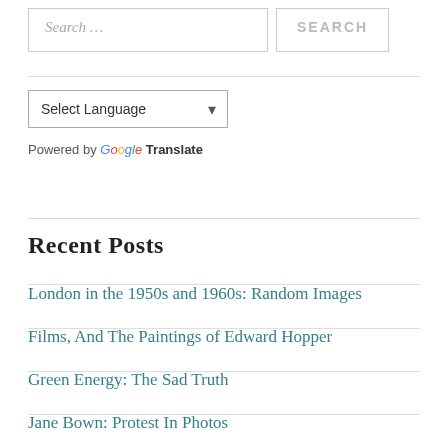[Figure (screenshot): Search input box with placeholder text 'Search …' and a SEARCH button]
[Figure (screenshot): Language selector dropdown showing 'Select Language' with Google Translate attribution]
Recent Posts
London in the 1950s and 1960s: Random Images
Films, And The Paintings of Edward Hopper
Green Energy: The Sad Truth
Jane Bown: Protest In Photos